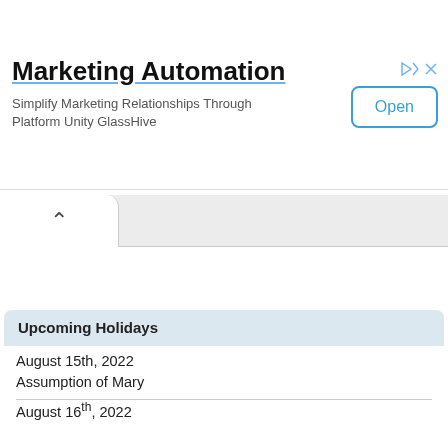[Figure (screenshot): Advertisement banner for Marketing Automation platform GlassHive with an Open button]
Marketing Automation
Simplify Marketing Relationships Through Platform Unity GlassHive
Upcoming Holidays
August 15th, 2022
Assumption of Mary
August 16th, 2022